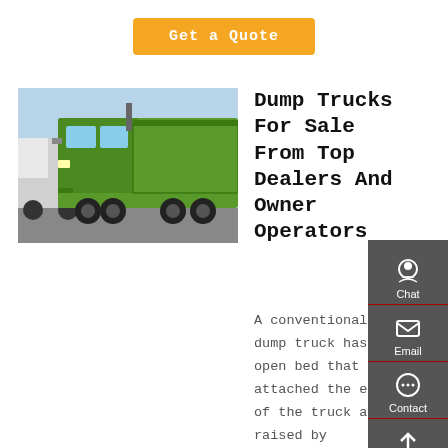Get a Quote
[Figure (photo): Green dump truck photographed outdoors, front-side angle view showing cab and dump bed]
Dump Trucks For Sale From Top Dealers And Owner Operators
A conventional dump truck has an open bed that is attached the end of the truck and raised by hydraulic pistons. You'll find a wide variety of dump trucks for sale like